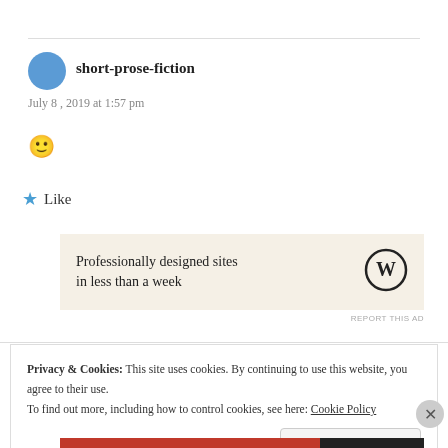[Figure (illustration): Blue circle avatar for user short-prose-fiction]
short-prose-fiction
July 8, 2019 at 1:57 pm
🙂
★ Like
[Figure (other): WordPress advertisement banner: 'Professionally designed sites in less than a week' with WordPress logo]
REPORT THIS AD
Privacy & Cookies: This site uses cookies. By continuing to use this website, you agree to their use.
To find out more, including how to control cookies, see here: Cookie Policy
Close and accept